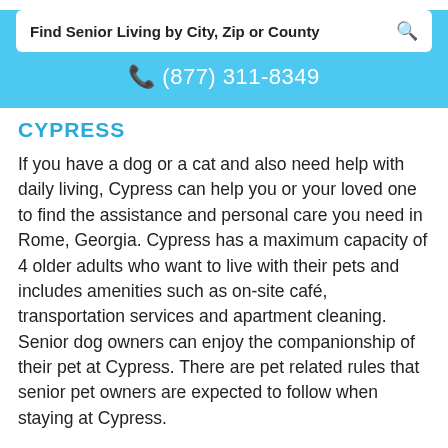Find Senior Living by City, Zip or County
(877) 311-8349
CYPRESS
If you have a dog or a cat and also need help with daily living, Cypress can help you or your loved one to find the assistance and personal care you need in Rome, Georgia. Cypress has a maximum capacity of 4 older adults who want to live with their pets and includes amenities such as on-site café, transportation services and apartment cleaning. Senior dog owners can enjoy the companionship of their pet at Cypress. There are pet related rules that senior pet owners are expected to follow when staying at Cypress.